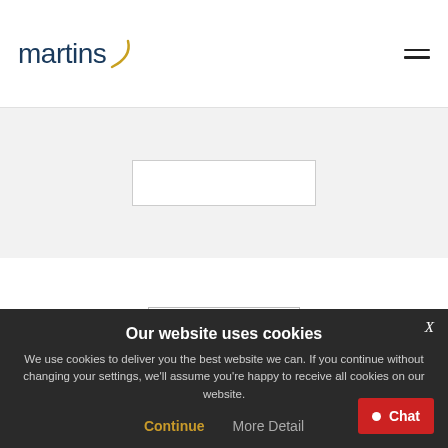[Figure (logo): Martins logo with dark blue text and gold arc symbol, plus hamburger menu icon]
[Figure (screenshot): Grey background section with a white bordered input/search box]
EVENTS
PREVIOUS POST
Gold Note Winter Promo
Our website uses cookies
We use cookies to deliver you the best website we can. If you continue without changing your settings, we'll assume you're happy to receive all cookies on our website.
Continue
More Detail
Chat